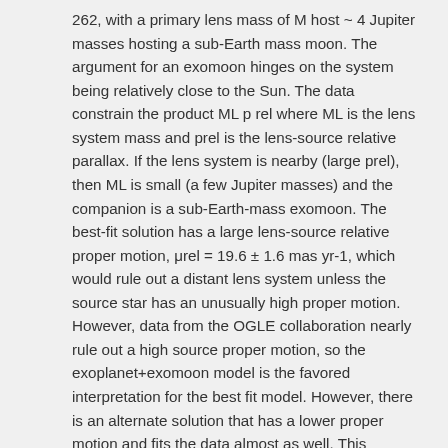262, with a primary lens mass of M host ~ 4 Jupiter masses hosting a sub-Earth mass moon. The argument for an exomoon hinges on the system being relatively close to the Sun. The data constrain the product ML p rel where ML is the lens system mass and prel is the lens-source relative parallax. If the lens system is nearby (large prel), then ML is small (a few Jupiter masses) and the companion is a sub-Earth-mass exomoon. The best-fit solution has a large lens-source relative proper motion, μrel = 19.6 ± 1.6 mas yr-1, which would rule out a distant lens system unless the source star has an unusually high proper motion. However, data from the OGLE collaboration nearly rule out a high source proper motion, so the exoplanet+exomoon model is the favored interpretation for the best fit model. However, there is an alternate solution that has a lower proper motion and fits the data almost as well. This solution is